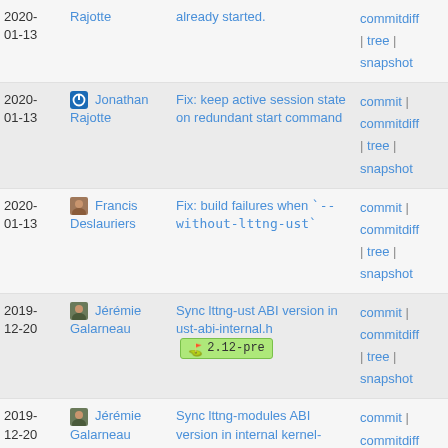| Date | Author | Commit message | Links |
| --- | --- | --- | --- |
| 2020-01-13 | Rajotte | already started. | commitdiff | tree | snapshot |
| 2020-01-13 | Jonathan Rajotte | Fix: keep active session state on redundant start command | commit | commitdiff | tree | snapshot |
| 2020-01-13 | Francis Deslauriers | Fix: build failures when `--without-lttng-ust` | commit | commitdiff | tree | snapshot |
| 2019-12-20 | Jérémie Galarneau | Sync lttng-ust ABI version in ust-abi-internal.h [2.12-pre] | commit | commitdiff | tree | snapshot |
| 2019-12-20 | Jérémie Galarneau | Sync lttng-modules ABI version in internal kernel-ioctl.h | commit | commitdiff | tree | snapshot |
| 2019-12-20 | Jérémie Galarneau | Fix: lttng-clear: invalid free of session name | commit | commitdiff |